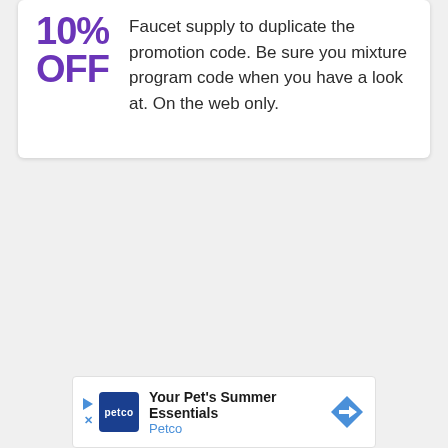10% OFF
Faucet supply to duplicate the promotion code. Be sure you mixture program code when you have a look at. On the web only.
[Figure (infographic): Advertisement banner for Petco showing 'Your Pet's Summer Essentials' with Petco logo and a blue directional arrow icon]